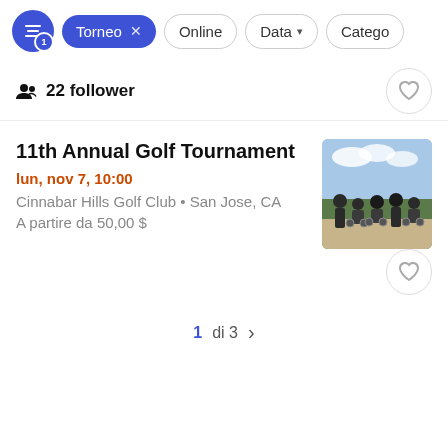Torneo  Online  Data  Categor
22 follower
11th Annual Golf Tournament
lun, nov 7, 10:00
Cinnabar Hills Golf Club • San Jose, CA
A partire da 50,00 $
[Figure (photo): Group photo of several people, some in wheelchairs, dressed in dark clothing outdoors with trees and sky in background.]
1 di 3  >